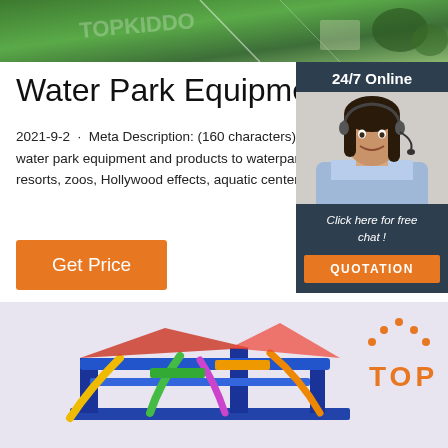[Figure (photo): Aerial/overhead view of a water park facility with green grass and structures, partially visible at top of page]
Water Park Equipment
2021-9-2 · Meta Description: (160 characters) ADG provides water park equipment and products to waterparks, hotels, resorts, zoos, Hollywood effects, aquatic centers, and more.
[Figure (photo): Customer service representative with headset, smiling, with '24/7 Online' header, 'Click here for free chat!' text, and QUOTATION button]
[Figure (screenshot): Orange 'Get Price' button]
[Figure (photo): Bottom section showing a colorful water park play structure/equipment on a light purple/lavender background, with an orange TOP navigation button]